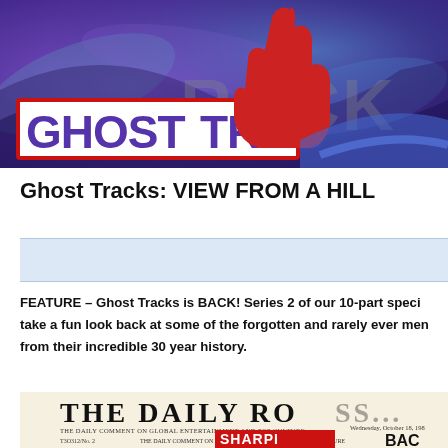[Figure (illustration): Ghost Tracks banner with purple/blue smoky background, a red hand/fist silhouette, and 'GHOST TRACK' text in large bold white and gray letters with a red border on the white portion]
Ghost Tracks: VIEW FROM A HILL
FEATURE – Ghost Tracks is BACK! Series 2 of our 10-part speci take a fun look back at some of the forgotten and rarely ever men from their incredible 30 year history.
[Figure (photo): Newspaper front page mockup titled 'THE DAILY RO...' with subtitle 'THE DAILY COMMENT ON GLOBAL ENTERTAINMENT AND POP CULTURE', dated Wednesday October 18, issue 'T3O312/No. 2', with a red headline box and 'BAC' text visible]